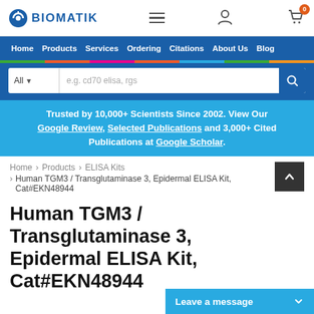BIOMATIK — navigation header with logo, hamburger menu, user icon, cart icon (0 items)
Home | Products | Services | Ordering | Citations | About Us | Blog
Search: All — e.g. cd70 elisa, rgs
Trusted by 10,000+ Scientists Since 2002. View Our Google Review, Selected Publications and 3,000+ Cited Publications at Google Scholar.
Home > Products > ELISA Kits > Human TGM3 / Transglutaminase 3, Epidermal ELISA Kit, Cat#EKN48944
Human TGM3 / Transglutaminase 3, Epidermal ELISA Kit, Cat#EKN48944